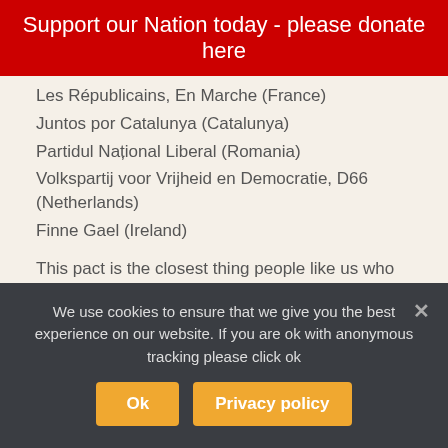Support our Nation today - please donate here
Les Républicains, En Marche (France)
Juntos por Catalunya (Catalunya)
Partidul Național Liberal (Romania)
Volkspartij voor Vrijheid en Democratie, D66 (Netherlands)
Finne Gael (Ireland)
This pact is the closest thing people like us who are pro-Wales have ever had to even having a voice.
▲ 6 ▼  ➤ Reply  ▲
We use cookies to ensure that we give you the best experience on our website. If you are ok with anonymous tracking please click ok
Ok  Privacy policy